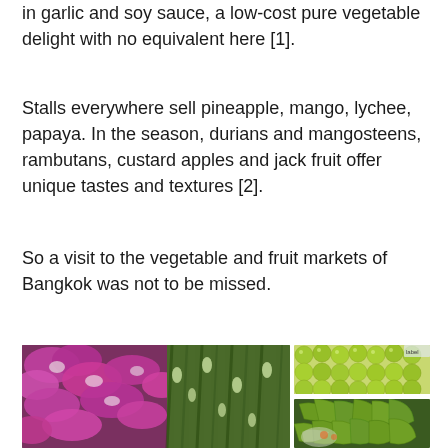in garlic and soy sauce, a low-cost pure vegetable delight with no equivalent here [1].
Stalls everywhere sell pineapple, mango, lychee, papaya. In the season, durians and mangosteens, rambutans, custard apples and jack fruit offer unique tastes and textures [2].
So a visit to the vegetable and fruit markets of Bangkok was not to be missed.
[Figure (photo): Left: large photo of vibrant purple/magenta orchid flowers with green stems and buds at a Bangkok market. Top right: photo of green limes/citrus fruits piled up. Bottom right: photo of green bananas and other green vegetables/fruits at a market stall.]